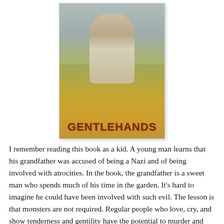[Figure (illustration): Book cover of 'Gentlehands' showing a young man sitting outdoors near a beach/grass scene with a warm golden-brown background. The title 'GENTLEHANDS' is displayed in bold dark red/brown text at the bottom of the cover.]
I remember reading this book as a kid. A young man learns that his grandfather was accused of being a Nazi and of being involved with atrocities. In the book, the grandfather is a sweet man who spends much of his time in the garden. It's hard to imagine he could have been involved with such evil. The lesson is that monsters are not required. Regular people who love, cry, and show tenderness and gentility have the potential to murder and torture. The challenge of the